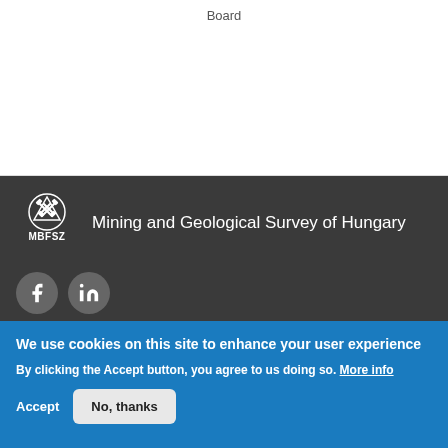Board
[Figure (logo): MBFSZ logo — Mining and Geological Survey of Hungary logo with crossed hammers and text MBFSZ]
Mining and Geological Survey of Hungary
[Figure (illustration): Facebook and LinkedIn social media icons as circular grey buttons]
We use cookies on this site to enhance your user experience
By clicking the Accept button, you agree to us doing so. More info
Accept
No, thanks